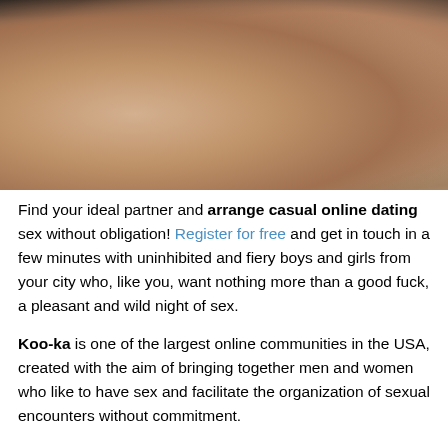[Figure (photo): Close-up photograph of two people in an intimate pose, one wearing black underwear, skin tones visible against a beige/tan background]
Find your ideal partner and arrange casual online dating sex without obligation! Register for free and get in touch in a few minutes with uninhibited and fiery boys and girls from your city who, like you, want nothing more than a good fuck, a pleasant and wild night of sex.
Koo-ka is one of the largest online communities in the USA, created with the aim of bringing together men and women who like to have sex and facilitate the organization of sexual encounters without commitment.
Always more and more people, in recent years are